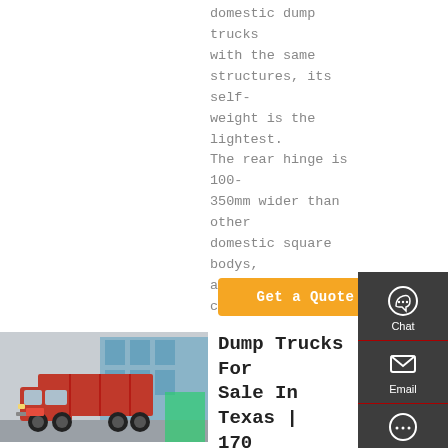domestic dump trucks with the same structures, its self-weight is the lightest. The rear hinge is 100-350mm wider than other domestic square bodys, and this structure can
Get a Quote
[Figure (photo): Red dump truck (HOWO style) parked in front of a building with blue glass facade, viewed from the front-left angle]
Dump Trucks For Sale In Texas | 170 Listings | TruckPaper